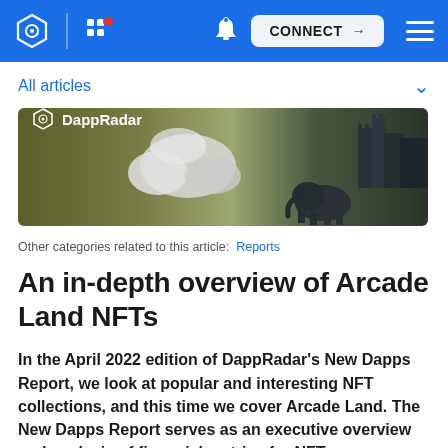DappRadar navigation bar with logo, apps grid, notification bell, CONNECT button, and menu
All articles
[Figure (illustration): DappRadar branded hero banner with logo and text 'DappRadar', olive/green background with clouds and fantasy castle/elephant scenery]
Other categories related to this article: Reports
An in-depth overview of Arcade Land NFTs
In the April 2022 edition of DappRadar's New Dapps Report, we look at popular and interesting NFT collections, and this time we cover Arcade Land. The New Dapps Report serves as an executive overview and analysis of financial metrics for NFT